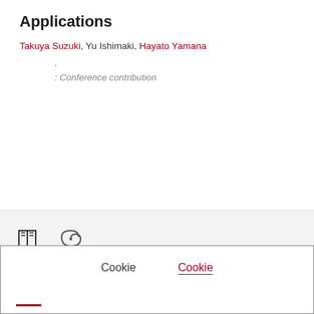Applications
Takuya Suzuki, Yu Ishimaki, Hayato Yamana
,
: Conference contribution
[Figure (screenshot): Bottom navigation bar with book icon and spiral icon, with a red underline tab indicator]
Cookie   Cookie